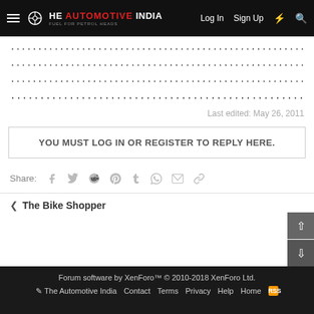The Automotive India — Log In  Sign Up
......................................................................111
......................................................................111
....................................................................111
...................................................1111111111111
Last edited: May 26, 2011
YOU MUST LOG IN OR REGISTER TO REPLY HERE.
Share:
The Bike Shopper
Forum software by XenForo™ © 2010-2018 XenForo Ltd. The Automotive India  Contact  Terms  Privacy  Help  Home